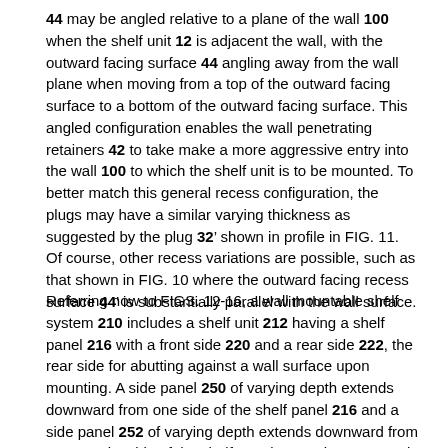44 may be angled relative to a plane of the wall 100 when the shelf unit 12 is adjacent the wall, with the outward facing surface 44 angling away from the wall plane when moving from a top of the outward facing surface to a bottom of the outward facing surface. This angled configuration enables the wall penetrating retainers 42 to take make a more aggressive entry into the wall 100 to which the shelf unit is to be mounted. To better match this general recess configuration, the plugs may have a similar varying thickness as suggested by the plug 32' shown in profile in FIG. 11. Of course, other recess variations are possible, such as that shown in FIG. 10 where the outward facing recess surface 44' is substantially parallel with the wall surface.
Referring now to FIGS. 12-16, a wall mountable shelf system 210 includes a shelf unit 212 having a shelf panel 216 with a front side 220 and a rear side 222, the rear side for abutting against a wall surface upon mounting. A side panel 250 of varying depth extends downward from one side of the shelf panel 216 and a side panel 252 of varying depth extends downward from an opposite side of the shelf panel 216. A bottom panel 260 of relatively short depth may extend between the bottoms of the two side panels to form an enclosed configuration with a passage 262 through which the wall can be viewed. In the illustrated embodiment the shelf panel 216 has a depth that is substantially greater than a depth of the bottom panel 260 (e.g., at least three times as deep) and the side panels are tapered so